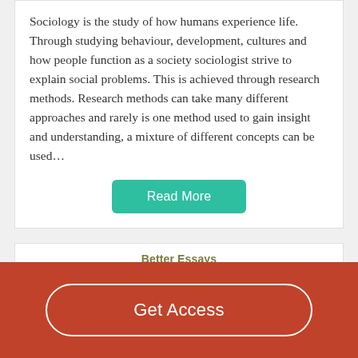Sociology is the study of how humans experience life. Through studying behaviour, development, cultures and how people function as a society sociologist strive to explain social problems. This is achieved through research methods. Research methods can take many different approaches and rarely is one method used to gain insight and understanding, a mixture of different concepts can be used…
Read More
Better Essays
Juvenile Delinquency And Recidivism Are A Major Problem Within Our Society
Get Access